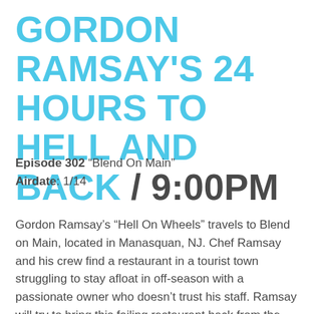GORDON RAMSAY'S 24 HOURS TO HELL AND BACK / 9:00PM
Episode 302 “Blend On Main”
Airdate: 1/14
Gordon Ramsay’s “Hell On Wheels” travels to Blend on Main, located in Manasquan, NJ. Chef Ramsay and his crew find a restaurant in a tourist town struggling to stay afloat in off-season with a passionate owner who doesn’t trust his staff. Ramsay will try to bring this failing restaurant back from the brink of disaster - all in just 24 hours. As the clock ticks down, Ramsay and his team transform this restaurant with a spectacular renovation, a fresh new menu